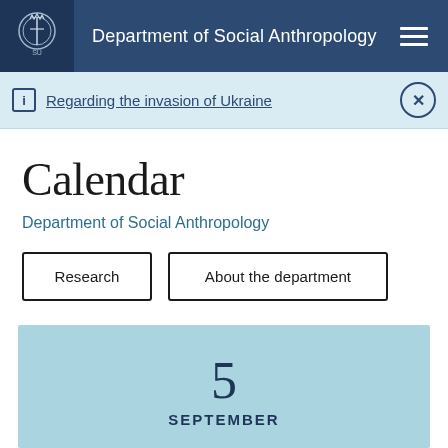Department of Social Anthropology
Regarding the invasion of Ukraine
Calendar
Department of Social Anthropology
Research
About the department
5
SEPTEMBER